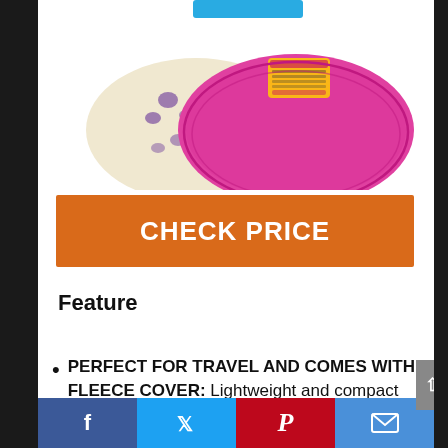[Figure (photo): Product photo showing two pet bowls — a beige/cream bowl with purple paw print pattern and a bright magenta/pink bowl, overlapping each other, viewed from slightly above. A blue label is visible at the top.]
CHECK PRICE
Feature
PERFECT FOR TRAVEL AND COMES WITH FLEECE COVER: Lightweight and compact design that makes it a perfect travel companion, made
Facebook  Twitter  Pinterest  Email